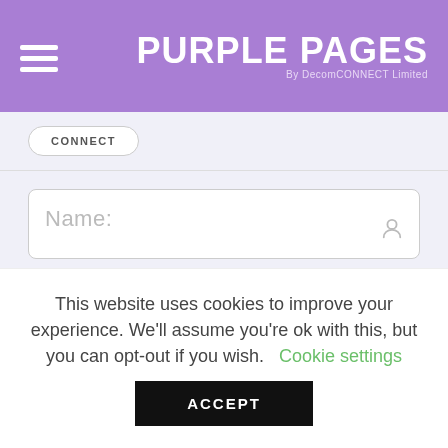PURPLE PAGES By DecomCONNECT Limited
CONNECT
Name:
Email:
This website uses cookies to improve your experience. We'll assume you're ok with this, but you can opt-out if you wish. Cookie settings
ACCEPT